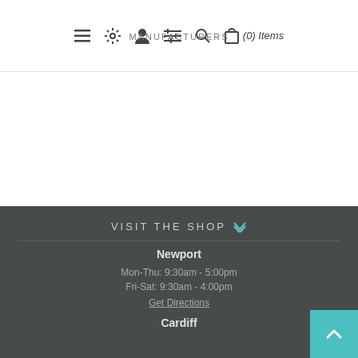MANUFACTURERS navigation header with icons: menu, settings, user, filter, search, bag (0) Items
VISIT THE SHOP
Newport
Mon-Thu: 9:30am - 5:00pm
Fri-Sat: 9:30am - 4:00pm
Get Directions
Cardiff